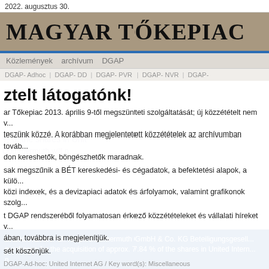2022. augusztus 30.
[Figure (logo): Magyar Tőkepiac newspaper logo on tan/brown background]
Közlemények   archívum   DGAP
DGAP-Adhoc | DGAP-DD | DGAP-PVR | DGAP-NVR | DGAP-...
ztelt látogatónk!
ar Tőkepiac 2013. április 9-től megszünteti szolgáltatását; új közzétételt nem v... teszünk közzé. A korábban megjelentetett közzétételek az archívumban továb... don kereshetők, böngészhetők maradnak.
sak megszűnik a BÉT kereskedési- és cégadatok, a befektetési alapok, a külö... közi indexek, és a devizapiaci adatok és árfolyamok, valamint grafikonok szolg...
t DGAP rendszeréből folyamatosan érkező közzétételeket és vállalati híreket v... ában, továbbra is megjelenítjük.
sét köszönjük.
DGAP-Ad-hoc: United Internet AG / Key word(s): Miscellaneous
United Internet AG: Ralph Dommermuth GmbH & Co. KG Beteiligungsgesell... purchases for the acquisition of approx. 7.84 % of the shares in United Intern... n